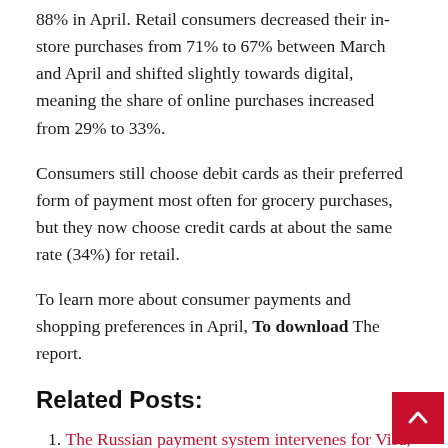88% in April. Retail consumers decreased their in-store purchases from 71% to 67% between March and April and shifted slightly towards digital, meaning the share of online purchases increased from 29% to 33%.
Consumers still choose debit cards as their preferred form of payment most often for grocery purchases, but they now choose credit cards at about the same rate (34%) for retail.
To learn more about consumer payments and shopping preferences in April, To download The report.
Related Posts:
The Russian payment system intervenes for Visa, Mastercard
CPACharge Announces ClientCredit, a New Buy Now Pay Later Payment Option for Accounting Professionals
What is the average payment for a car? – Forbes Advisor